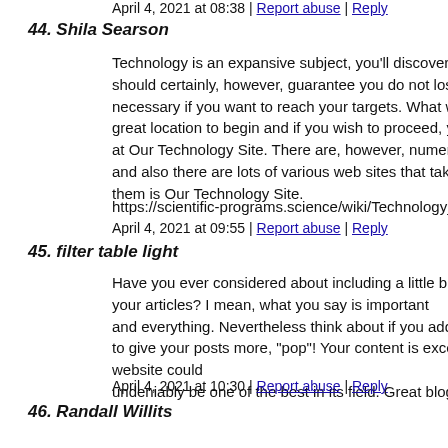April 4, 2021 at 08:38 | Report abuse | Reply
44. Shila Searson
Technology is an expansive subject, you'll discover several poi should certainly, however, guarantee you do not lose sight of th necessary if you want to reach your targets. What we have actu great location to begin and if you wish to proceed, you need to at Our Technology Site. There are, however, numerous various and also there are lots of various web sites that take place to be them is Our Technology Site.
https://scientific-programs.science/wiki/Technology_Trends_2
April 4, 2021 at 09:55 | Report abuse | Reply
45. filter table light
Have you ever considered about including a little bit more than your articles? I mean, what you say is important and everything. Nevertheless think about if you added some gr to give your posts more, "pop"! Your content is excellent but w website could undeniably be one of the best in its field. Great blog!
April 4, 2021 at 10:30 | Report abuse | Reply
46. Randall Willits